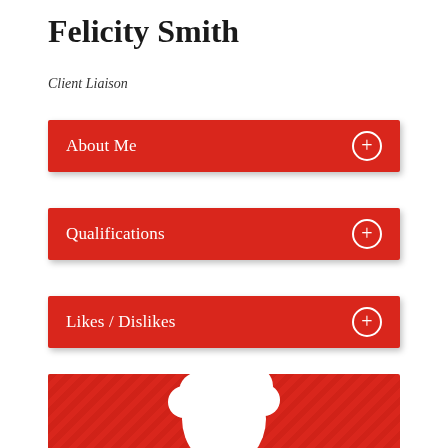Felicity Smith
Client Liaison
About Me
Qualifications
Likes / Dislikes
[Figure (illustration): Red background with diagonal stripe pattern and white silhouette of a person's head/hair, partially cropped at the bottom of the page]